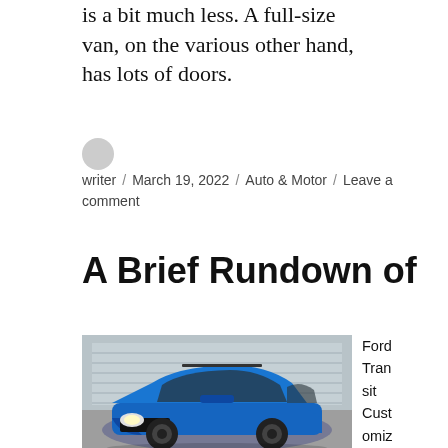is a bit much less. A full-size van, on the various other hand, has lots of doors.
writer / March 19, 2022 / Auto & Motor / Leave a comment
A Brief Rundown of
[Figure (photo): A blue Subaru WRX wagon/hatchback parked in front of a building with a garage door, viewed from a front three-quarter angle.]
Ford Transit Customized The